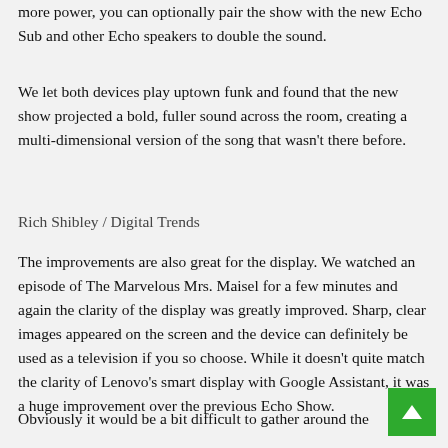more power, you can optionally pair the show with the new Echo Sub and other Echo speakers to double the sound.
We let both devices play uptown funk and found that the new show projected a bold, fuller sound across the room, creating a multi-dimensional version of the song that wasn't there before.
Rich Shibley / Digital Trends
The improvements are also great for the display. We watched an episode of The Marvelous Mrs. Maisel for a few minutes and again the clarity of the display was greatly improved. Sharp, clear images appeared on the screen and the device can definitely be used as a television if you so choose. While it doesn't quite match the clarity of Lenovo's smart display with Google Assistant, it was a huge improvement over the previous Echo Show.
Obviously it would be a bit difficult to gather around the device like a television, as it sits on a countertop and if